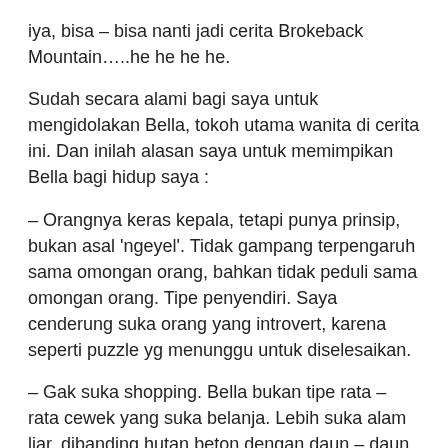iya, bisa – bisa nanti jadi cerita Brokeback Mountain…..he he he he.
Sudah secara alami bagi saya untuk mengidolakan Bella, tokoh utama wanita di cerita ini. Dan inilah alasan saya untuk memimpikan Bella bagi hidup saya :
– Orangnya keras kepala, tetapi punya prinsip, bukan asal 'ngeyel'. Tidak gampang terpengaruh sama omongan orang, bahkan tidak peduli sama omongan orang. Tipe penyendiri. Saya cenderung suka orang yang introvert, karena seperti puzzle yg menunggu untuk diselesaikan.
– Gak suka shopping. Bella bukan tipe rata – rata cewek yang suka belanja. Lebih suka alam liar, dibanding hutan beton dengan daun – daun etalase kaca.
– Cuek, tampil apa adanya. Seperti memiliki dunianya